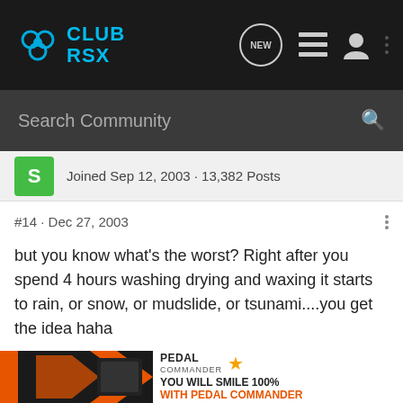Club RSX
Search Community
Joined Sep 12, 2003 · 13,382 Posts
#14 · Dec 27, 2003
but you know what's the worst? Right after you spend 4 hours washing drying and waxing it starts to rain, or snow, or mudslide, or tsunami....you get the idea haha
Coming soon: 2009 Mercedes-Benz C300
[Figure (screenshot): Pedal Commander advertisement banner at bottom of page reading YOU WILL SMILE 100% WITH PEDAL COMMANDER]